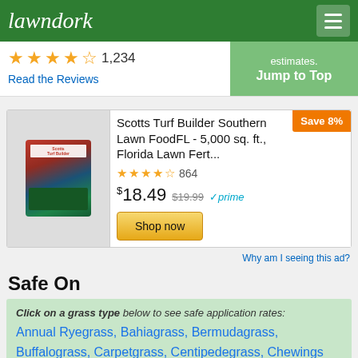lawndork
estimates. Jump to Top
★★★★½ 1,234 Read the Reviews
[Figure (screenshot): Advertisement for Scotts Turf Builder Southern Lawn FoodFL - 5,000 sq. ft., Florida Lawn Fert... with Save 8% badge, 864 reviews, price $18.49, was $19.99, prime eligible, Shop now button]
Why am I seeing this ad?
Safe On
Click on a grass type below to see safe application rates: Annual Ryegrass, Bahiagrass, Bermudagrass, Buffalograss, Carpetgrass, Centipedegrass, Chewings Fescue, Fine Fescue, Hard Fescue, Kentucky